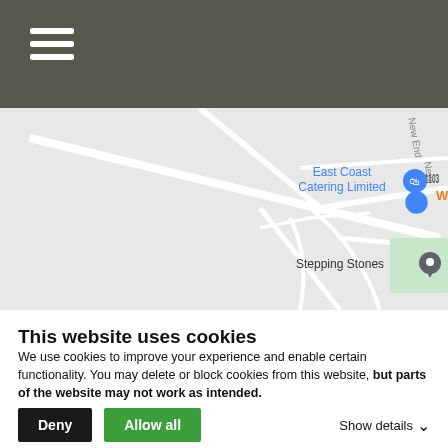Navigation menu (hamburger icon)
[Figure (map): Google Maps screenshot showing East Coast Catering Limited with a shopping bag pin, a Playground location pin, road B1103, 'Stepping Stones' label, and 'New End' road label on the right side. Light grey map with white roads.]
This website uses cookies
We use cookies to improve your experience and enable certain functionality. You may delete or block cookies from this website, but parts of the website may not work as intended.
Deny | Allow all | Show details